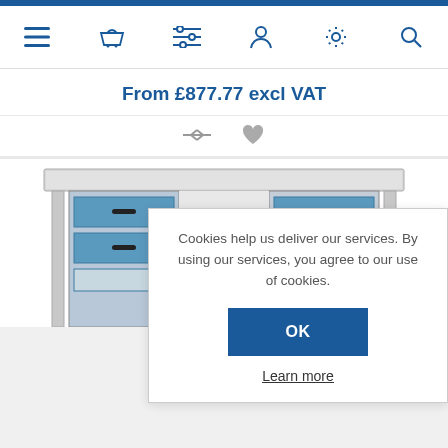[Figure (screenshot): Navigation bar with icons: hamburger menu, shopping basket, filter/list, user profile, settings/gear, search magnifier]
From £877.77 excl VAT
Cookies help us deliver our services. By using our services, you agree to our use of cookies.
OK
Learn more
[Figure (photo): Grey and blue metal office desk with three drawers on the left pedestal and a cupboard door on the right pedestal]